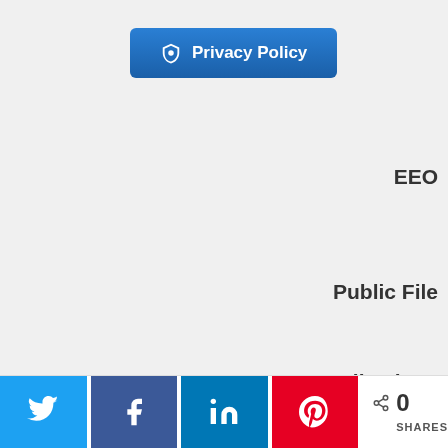[Figure (other): Blue Privacy Policy button with shield icon]
EEO
Public File
FCC Applications
Share bar with Twitter, Facebook, LinkedIn, Pinterest buttons and 0 SHARES count